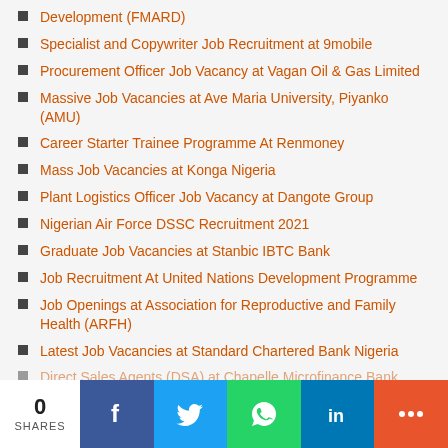Development (FMARD)
Specialist and Copywriter Job Recruitment at 9mobile
Procurement Officer Job Vacancy at Vagan Oil & Gas Limited
Massive Job Vacancies at Ave Maria University, Piyanko (AMU)
Career Starter Trainee Programme At Renmoney
Mass Job Vacancies at Konga Nigeria
Plant Logistics Officer Job Vacancy at Dangote Group
Nigerian Air Force DSSC Recruitment 2021
Graduate Job Vacancies at Stanbic IBTC Bank
Job Recruitment At United Nations Development Programme
Job Openings at Association for Reproductive and Family Health (ARFH)
Latest Job Vacancies at Standard Chartered Bank Nigeria
Direct Sales Agents (DSA) at Chapelle Microfinance Bank
0 SHARES | Facebook | Twitter | WhatsApp | LinkedIn | More